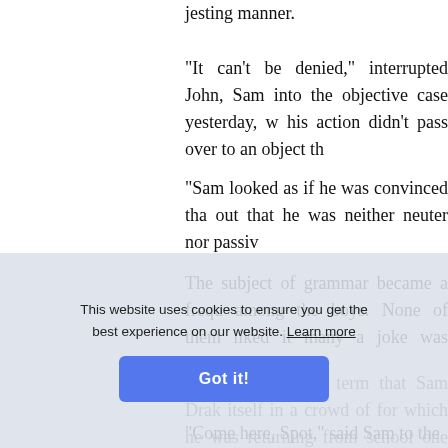jesting manner.
"It can't be denied," interrupted John, Sam into the objective case yesterday, w his action didn't pass over to an object th
"Sam looked as if he was convinced tha out that he was neither neuter nor passiv
The subject of grammar became a frequ among the boys. None of them liked it many a joke was cracked over it.
It was during this term that Sam Drak itself in a crowd of for which he was returning from school one night, when to salute his young master, one of the playful fellow, ready to frolic with the b
"Come here, Spot," said Sam to the dog he patted him upon his head, till the do
This website uses cookies to ensure you get the best experience on our website. Learn more
Got it!